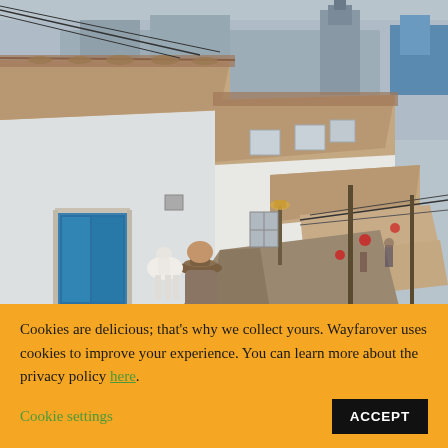[Figure (photo): Street scene of a historic Andean town (likely Cusco, Peru) showing whitewashed colonial buildings with terracotta tiled roofs cascading down a narrow cobblestone street. A person wearing a hat stands in the foreground near a llama. A church tower is visible in the hazy background on the hillside.]
Cookies are delicious; that's why we collect yours. Wayfarover uses cookies to improve your experience. You can learn more about the privacy policy here. Cookie settings ACCEPT